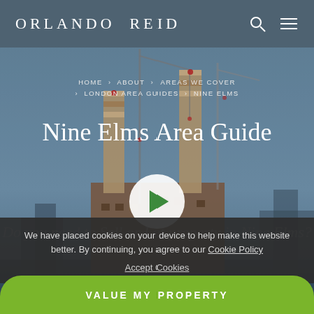[Figure (photo): Aerial/ground view of Battersea Power Station with tall chimneys and cranes against a dusky blue sky, river in foreground. Background hero image for Nine Elms Area Guide page.]
ORLANDO REID
HOME > ABOUT > AREAS WE COVER > LONDON AREA GUIDES > NINE ELMS
Nine Elms Area Guide
We have placed cookies on your device to help make this website better. By continuing, you agree to our Cookie Policy
Accept Cookies
Do you need to Sell or Let property in Nine Elms?
VALUE MY PROPERTY